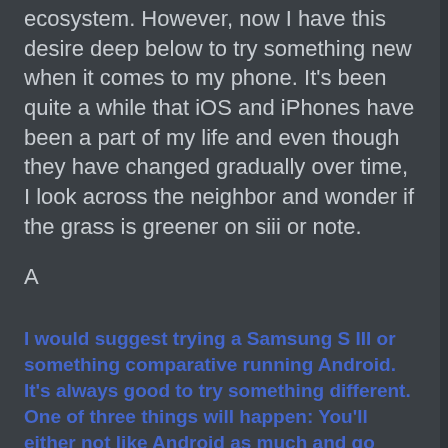ecosystem. However, now I have this desire deep below to try something new when it comes to my phone. It's been quite a while that iOS and iPhones have been a part of my life and even though they have changed gradually over time, I look across the neighbor and wonder if the grass is greener on siii or note.
A
I would suggest trying a Samsung S III or something comparative running Android. It's always good to try something different. One of three things will happen: You'll either not like Android as much and go back to iOS, you'll find that you enjoy Android a lot and make the switch, or you'll find that you enjoy both and switch back and forth between them every once in awhile. I prefer the last option. It's nice to switch things up here and there!